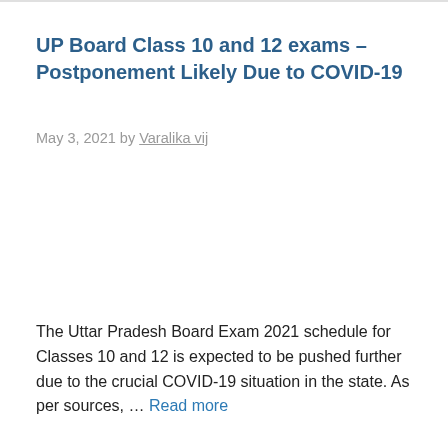UP Board Class 10 and 12 exams – Postponement Likely Due to COVID-19
May 3, 2021 by Varalika vij
The Uttar Pradesh Board Exam 2021 schedule for Classes 10 and 12 is expected to be pushed further due to the crucial COVID-19 situation in the state. As per sources, … Read more